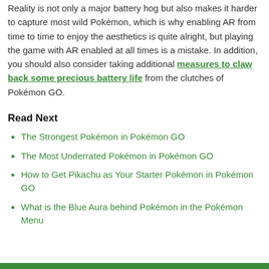Reality is not only a major battery hog but also makes it harder to capture most wild Pokémon, which is why enabling AR from time to time to enjoy the aesthetics is quite alright, but playing the game with AR enabled at all times is a mistake. In addition, you should also consider taking additional measures to claw back some precious battery life from the clutches of Pokémon GO.
Read Next
The Strongest Pokémon in Pokémon GO
The Most Underrated Pokémon in Pokémon GO
How to Get Pikachu as Your Starter Pokémon in Pokémon GO
What is the Blue Aura behind Pokémon in the Pokémon Menu